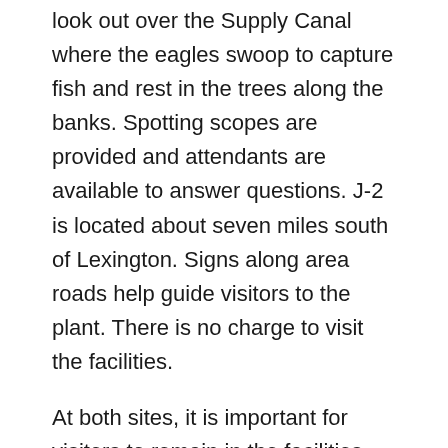look out over the Supply Canal where the eagles swoop to capture fish and rest in the trees along the banks. Spotting scopes are provided and attendants are available to answer questions. J-2 is located about seven miles south of Lexington. Signs along area roads help guide visitors to the plant. There is no charge to visit the facilities.
At both sites, it is important for visitors to remain in the facilities while watching the eagles. The birds are easily disturbed and are particularly cautious of humans. Trying to approach the birds or loud noises could frighten the birds from the area.
There should be Eagles in the area for about the next